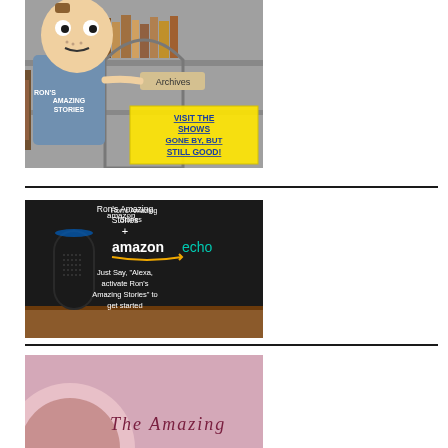[Figure (illustration): Cartoon illustration of a character holding an 'Archives' sign in a library setting, with yellow banner text: 'VISIT THE SHOWS GONE BY, BUT STILL GOOD!' promoting Ron's Amazing Stories archives]
[Figure (photo): Advertisement image for Ron's Amazing Stories on Amazon Echo. Dark background with Amazon Echo device, text reads: Ron's Amazing Stories + amazon echo. Just Say, 'Alexa, activate Ron's Amazing Stories' to get started]
[Figure (illustration): Partial image at bottom, appears to be a colorful illustrated or photo image, bottom portion only visible]